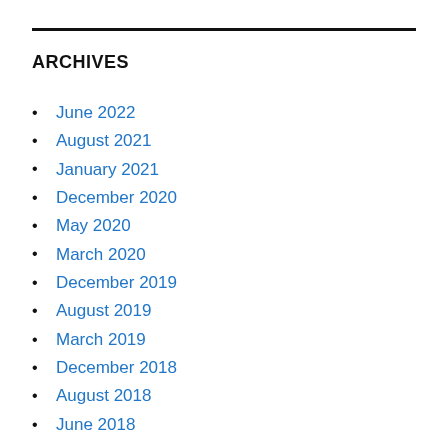ARCHIVES
June 2022
August 2021
January 2021
December 2020
May 2020
March 2020
December 2019
August 2019
March 2019
December 2018
August 2018
June 2018